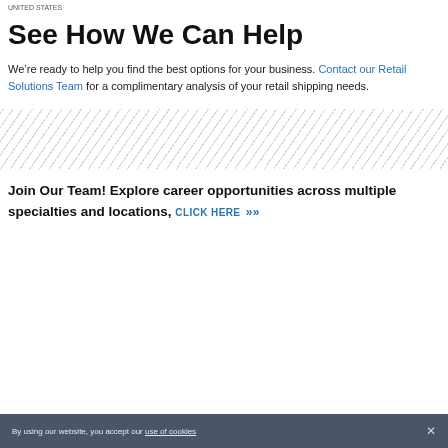UNITED STATES
See How We Can Help
We’re ready to help you find the best options for your business. Contact our Retail Solutions Team for a complimentary analysis of your retail shipping needs.
[Figure (illustration): Diagonal stripe pattern background section]
Join Our Team! Explore career opportunities across multiple specialties and locations, CLICK HERE »»
By using our website, you accept our use of cookies ×